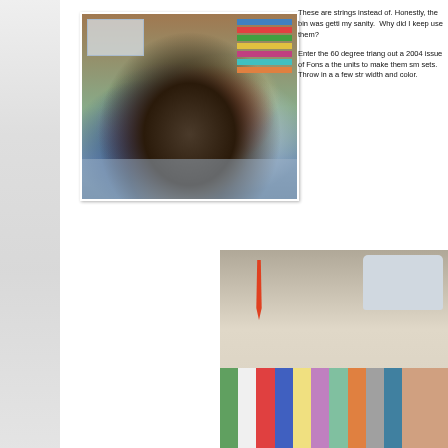[Figure (photo): A large pile of colorful fabric scraps and strings heaped on a quilting cutting mat, with a clear plastic storage bin visible in the upper left and folded fabric strips in the upper right background.]
These are strings instead of. Honestly, the bin was getti my sanity.  Why did I keep use them?

Enter the 60 degree triang out a 2004 issue of Fons a the units to make them sm sets.  Throw in a a few str width and color.
[Figure (photo): A sewing room workspace showing a sewing machine on the right, red-handled scissors hanging on the wall, and colorful fabric strings/strips laid out on a table surface.]